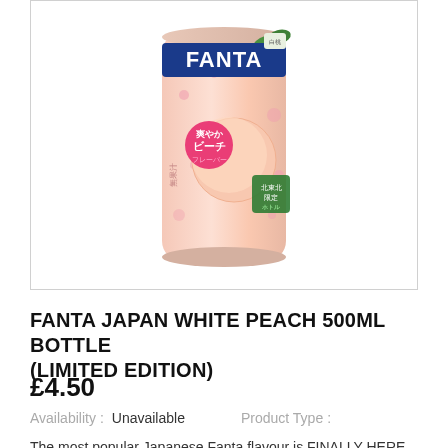[Figure (photo): Fanta Japan White Peach limited edition can, pink color with Japanese text reading 爽やかビーチフレーバー (refreshing peach flavor) and 北東北限定 (limited to Kitaohoku region), with a pink peach illustration and FANTA logo in blue and white.]
FANTA JAPAN WHITE PEACH 500ML BOTTLE (LIMITED EDITION)
£4.50
Availability : Unavailable    Product Type :
The most popular Japanese Fanta flavour is FINALLY HERE and it